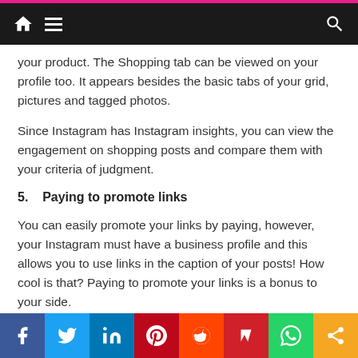Navigation bar with home, menu, and search icons
your product. The Shopping tab can be viewed on your profile too. It appears besides the basic tabs of your grid, pictures and tagged photos.
Since Instagram has Instagram insights, you can view the engagement on shopping posts and compare them with your criteria of judgment.
5.    Paying to promote links
You can easily promote your links by paying, however, your Instagram must have a business profile and this allows you to use links in the caption of your posts! How cool is that? Paying to promote your links is a bonus to your side.
Social share bar: Facebook, Twitter, LinkedIn, Pinterest, Reddit, Mix, WhatsApp, Share